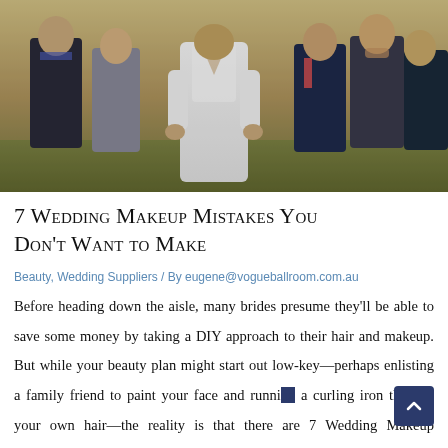[Figure (photo): A bride in a white lace backless wedding dress stands with her back to the camera, surrounded by several men in suits who look surprised and impressed, outdoors on green grass with warm lighting.]
7 Wedding Makeup Mistakes You Don't Want to Make
Beauty, Wedding Suppliers / By eugene@vogueballroom.com.au
Before heading down the aisle, many brides presume they'll be able to save some money by taking a DIY approach to their hair and makeup. But while your beauty plan might start out low-key—perhaps enlisting a family friend to paint your face and running a curling iron through your own hair—the reality is that there are 7 Wedding Makeup Mistakes...